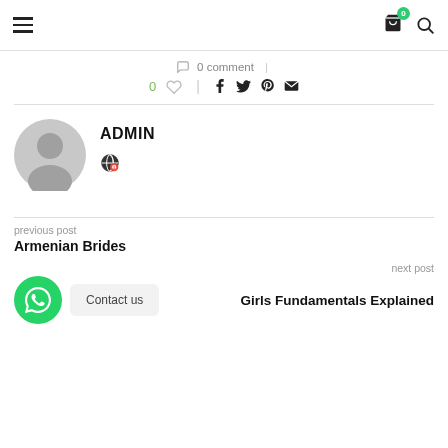Navigation bar with hamburger menu, cart (0), and search icons
0 comment
0 ♡  |  f  t  p  ✉
ADMIN
[Figure (illustration): Gray circular avatar/user placeholder icon]
[Figure (illustration): Globe with heart icon (author website link)]
previous post
Armenian Brides
next post
Girls Fundamentals Explained
[Figure (illustration): WhatsApp floating button (green circle with phone icon)]
Contact us